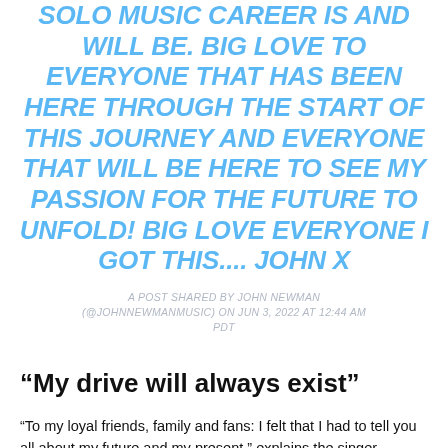SOLO MUSIC CAREER IS AND WILL BE. BIG LOVE TO EVERYONE THAT HAS BEEN HERE THROUGH THE START OF THIS JOURNEY AND EVERYONE THAT WILL BE HERE TO SEE MY PASSION FOR THE FUTURE TO UNFOLD! BIG LOVE EVERYONE I GOT THIS.... JOHN X
A POST SHARED BY JOHN NEWMAN (@JOHNNEWMANMUSIC) ON JUN 3, 2022 AT 12:44 AM PDT
“My drive will always exist”
“To my loyal friends, family and fans: I felt that I had to tell you all about my future and my present,” explains the singer.